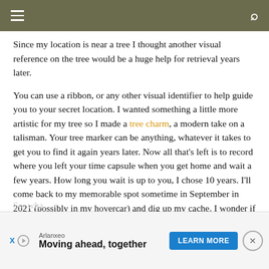☰  [search icon]
Since my location is near a tree I thought another visual reference on the tree would be a huge help for retrieval years later.
You can use a ribbon, or any other visual identifier to help guide you to your secret location. I wanted something a little more artistic for my tree so I made a tree charm, a modern take on a talisman. Your tree marker can be anything, whatever it takes to get you to find it again years later.
Now all that's left is to record where you left your time capsule when you get home and wait a few years. How long you wait is up to you, I chose 10 years. I'll come back to my memorable spot sometime in September in 2021 (possibly in my hovercar) and dig up my cache. I wonder if I'll be able to resist rereading this article between now and then?
[Figure (other): Advertisement banner: Arlanxeo — Moving ahead, together — with LEARN MORE button and close X button]